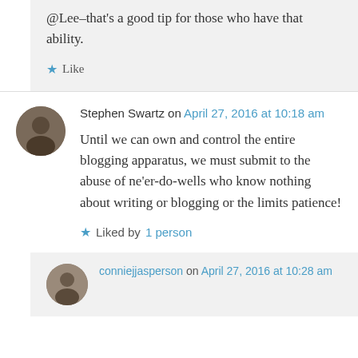@Lee–that's a good tip for those who have that ability.
★ Like
Stephen Swartz on April 27, 2016 at 10:18 am
Until we can own and control the entire blogging apparatus, we must submit to the abuse of ne'er-do-wells who know nothing about writing or blogging or the limits patience!
★ Liked by 1 person
conniejjasperson on April 27, 2016 at 10:28 am